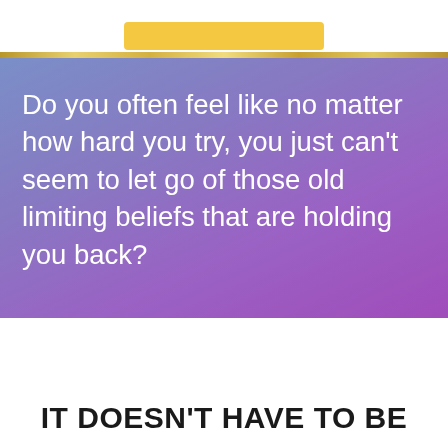[Figure (illustration): Yellow button element at the top of the page on white background]
Do you often feel like no matter how hard you try, you just can't seem to let go of those old limiting beliefs that are holding you back?
IT DOESN'T HAVE TO BE